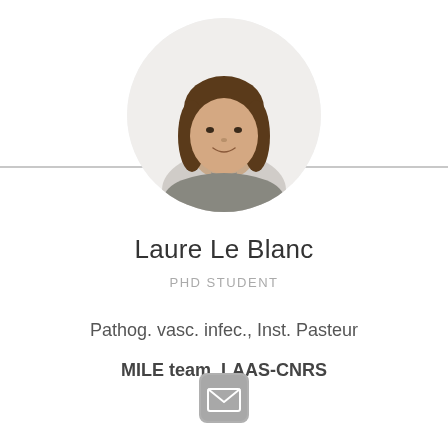[Figure (photo): Circular profile photo of a young woman with long brown hair, smiling, wearing a light top and necklace.]
Laure Le Blanc
PHD STUDENT
Pathog. vasc. infec., Inst. Pasteur
MILE team, LAAS-CNRS
[Figure (illustration): Email/envelope icon button with rounded rectangle border in gray.]